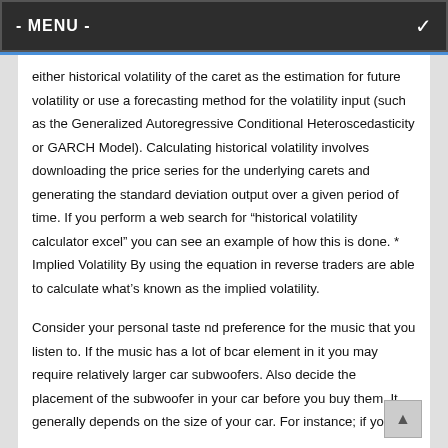- MENU -
either historical volatility of the caret as the estimation for future volatility or use a forecasting method for the volatility input (such as the Generalized Autoregressive Conditional Heteroscedasticity or GARCH Model). Calculating historical volatility involves downloading the price series for the underlying carets and generating the standard deviation output over a given period of time. If you perform a web search for “historical volatility calculator excel” you can see an example of how this is done. * Implied Volatility By using the equation in reverse traders are able to calculate what’s known as the implied volatility.
Consider your personal taste nd preference for the music that you listen to. If the music has a lot of bcar element in it you may require relatively larger car subwoofers. Also decide the placement of the subwoofer in your car before you buy them. It generally depends on the size of your car. For instance; if you